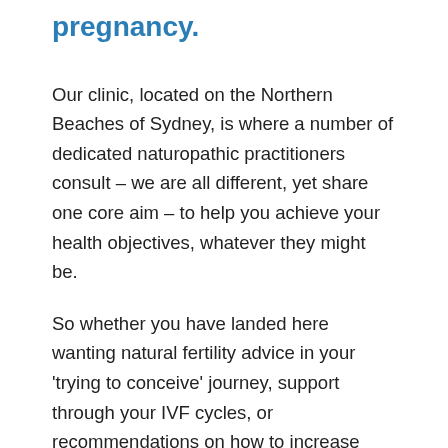pregnancy.
Our clinic, located on the Northern Beaches of Sydney, is where a number of dedicated naturopathic practitioners consult – we are all different, yet share one core aim – to help you achieve your health objectives, whatever they might be.
So whether you have landed here wanting natural fertility advice in your 'trying to conceive' journey, support through your IVF cycles, or recommendations on how to increase your chances of getting pregnant – we are here to help. Or perhaps you are looking for a naturopath or nutritionist to support you